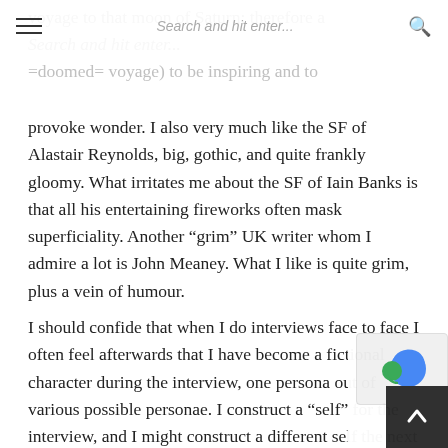Search and hit enter...
voyage to that moon of Saturn; therefore a =doomed= voyage) to be inspiring and to provoke wonder. I also very much like the SF of Alastair Reynolds, big, gothic, and quite frankly gloomy. What irritates me about the SF of Iain Banks is that all his entertaining fireworks often mask superficiality. Another “grim” UK writer whom I admire a lot is John Meaney. What I like is quite grim, plus a vein of humour.
I should confide that when I do interviews face to face I often feel afterwards that I have become a fictional character during the interview, one persona out of various possible personae. I construct a “self” for the interview, and I might construct a different self the next day. This is a good argument why the writing itself reveals more about an author than whatever the author says about it — even